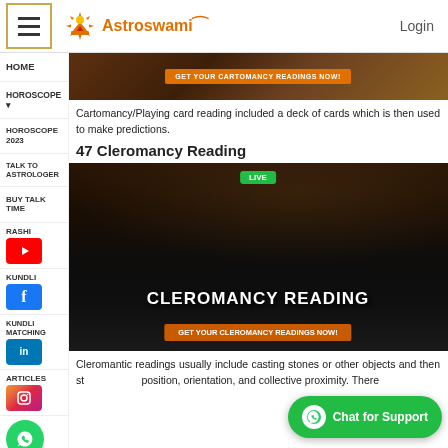Astroswami — Login
HOME
Cartomancy/Playing card reading included a deck of cards which is then used to make predictions.
HOROSCOPE ▾
HOROSCOPE 2023
47 Cleromancy Reading
TALK TO ASTROLOGER
[Figure (screenshot): Video thumbnail showing Cleromancy Reading with LIVE badge, dark mystical background with planets and hands, orange CTA button 'GET YOUR CLEROMANCY READINGS NOW!']
BUY TALK TIME
RASHI
KUNDLI
KUNDLI MATCHING
ARTICLES
Cleromantic readings usually include casting stones or other objects and then studying their position, orientation, and collective proximity. There